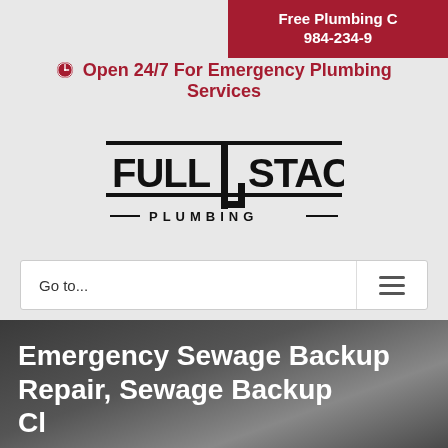Free Plumbing C… 984-234-9…
Open 24/7 For Emergency Plumbing Services
[Figure (logo): Full Stack Plumbing logo — bold black text FULL|STACK with horizontal rules above and below, and PLUMBING in spaced letters beneath]
Go to...
Emergency Sewage Backup Repair, Sewage Backup Cleanup…